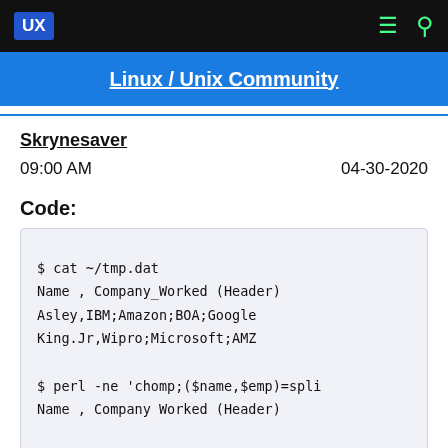UX | Linux / Unix Community
Linux / Unix Community
Skrynesaver
09:00 AM    04-30-2020
Code:
$ cat ~/tmp.dat
Name , Company_Worked (Header)
Asley,IBM;Amazon;BOA;Google
King.Jr,Wipro;Microsoft;AMZ

$ perl -ne 'chomp;($name,$emp)=spli
Name , Company Worked (Header)